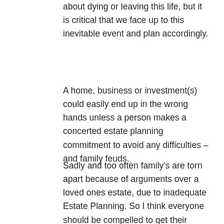about dying or leaving this life, but it is critical that we face up to this inevitable event and plan accordingly.
A home, business or investment(s) could easily end up in the wrong hands unless a person makes a concerted estate planning commitment to avoid any difficulties – and family feuds.
Sadly and too often family's are torn apart because of arguments over a loved ones estate, due to inadequate Estate Planning. So I think everyone should be compelled to get their estate planning in order to avoid any such conflict. At Complete Financial Solutions we have a team of estate planning advisers who can help you plan for the future.